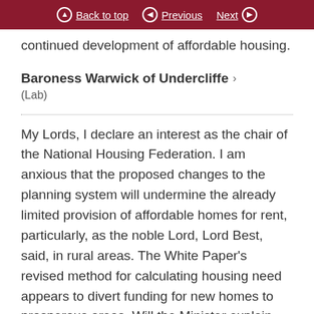Back to top  Previous  Next
continued development of affordable housing.
Baroness Warwick of Undercliffe
(Lab)
My Lords, I declare an interest as the chair of the National Housing Federation. I am anxious that the proposed changes to the planning system will undermine the already limited provision of affordable homes for rent, particularly, as the noble Lord, Lord Best, said, in rural areas. The White Paper's revised method for calculating housing need appears to divert funding for new homes to prosperous areas. Will the Minister explain how this contributes to the Government's levelling-up agenda? Will he work with the affordable housing